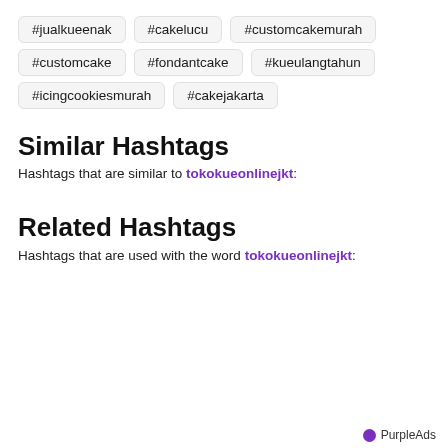#jualkueenak
#cakelucu
#customcakemurah
#customcake
#fondantcake
#kueulangtahun
#icingcookiesmurah
#cakejakarta
Similar Hashtags
Hashtags that are similar to tokokueonlinejkt:
Related Hashtags
Hashtags that are used with the word tokokueonlinejkt:
PurpleAds